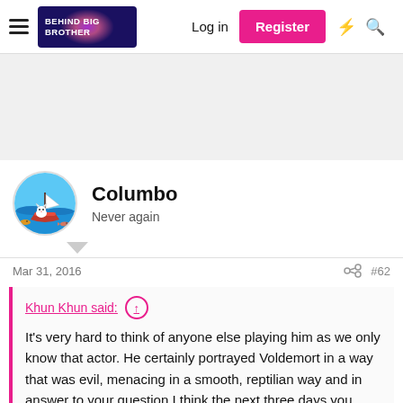Behind Big Brother — Log in | Register
[Figure (screenshot): Gray advertisement/banner placeholder area]
Columbo
Never again
Mar 31, 2016  #62
Khun Khun said: ↑
It's very hard to think of anyone else playing him as we only know that actor. He certainly portrayed Voldemort in a way that was evil, menacing in a smooth, reptilian way and in answer to your question I think the next three days you really...